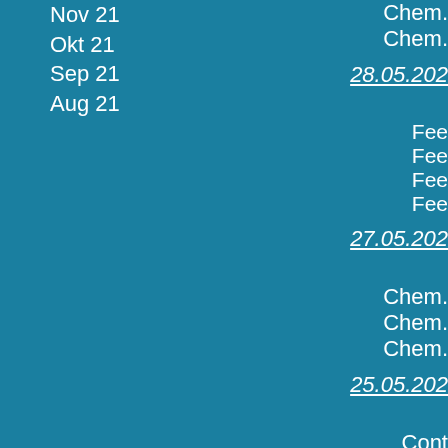Nov 21
Okt 21
Sep 21
Aug 21
Chem.
Chem.
28.05.202
Fee
Fee
Fee
Fee
27.05.202
Chem.
Chem.
Chem.
25.05.202
Cont
Cont
Cont